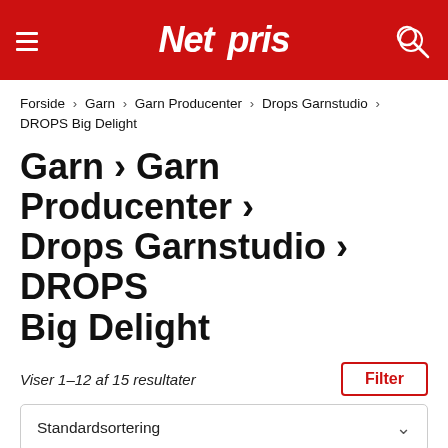Net pris
Forside > Garn > Garn Producenter > Drops Garnstudio > DROPS Big Delight
Garn > Garn Producenter > Drops Garnstudio > DROPS Big Delight
Viser 1–12 af 15 resultater
Filter
Standardsortering
- 15%  Drops Big Delight Garn